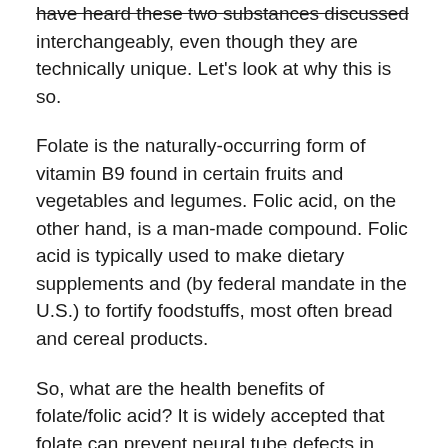have heard these two substances discussed interchangeably, even though they are technically unique. Let's look at why this is so.
Folate is the naturally-occurring form of vitamin B9 found in certain fruits and vegetables and legumes. Folic acid, on the other hand, is a man-made compound. Folic acid is typically used to make dietary supplements and (by federal mandate in the U.S.) to fortify foodstuffs, most often bread and cereal products.
So, what are the health benefits of folate/folic acid? It is widely accepted that folate can prevent neural tube defects in developing human embryos and aid in the forming of DNA and RNA. The U.S. Public Health Service officially recommended that women of child-bearing age who may become pregnant should consume at least 400mcg of folate per day for this very reason. Folate also helps regulate homocysteine, an amino acid which can